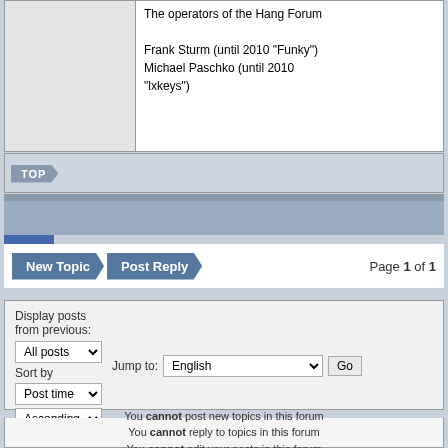The operators of the Hang Forum

Frank Sturm (until 2010 "Funky")
Michael Paschko (until 2010 "lxkeys")
[Figure (screenshot): TOP button in forum navigation bar]
[Figure (screenshot): Blue separator bars and stripe]
[Figure (screenshot): New Topic and Post Reply buttons with Page 1 of 1 indicator]
Page 1 of 1
Display posts from previous:
All posts
Sort by
Post time
Ascending
Go
Jump to: English
Go
You cannot post new topics in this forum
You cannot reply to topics in this forum
You cannot edit your posts in this forum